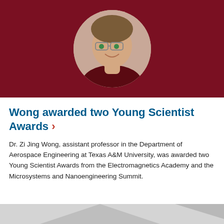[Figure (photo): Photo of Dr. Zi Jing Wong, a young person wearing glasses and a dark maroon polo shirt, smiling. The photo is cropped in a circle against a dark maroon/crimson background.]
Wong awarded two Young Scientist Awards ›
Dr. Zi Jing Wong, assistant professor in the Department of Aerospace Engineering at Texas A&M University, was awarded two Young Scientist Awards from the Electromagnetics Academy and the Microsystems and Nanoengineering Summit.
[Figure (photo): Partial bottom image, appears to be a grey/light colored background scene, cropped off.]